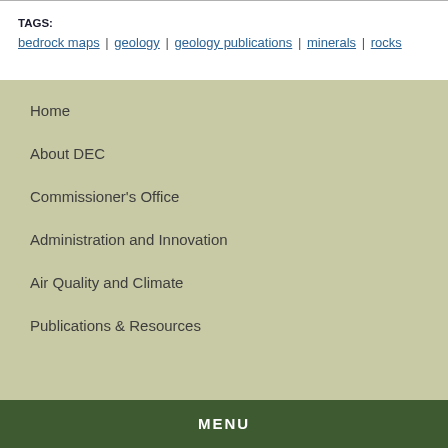TAGS: bedrock maps | geology | geology publications | minerals | rocks
Home
About DEC
Commissioner's Office
Administration and Innovation
Air Quality and Climate
Publications & Resources
MENU  Drinking Water and Groundwater